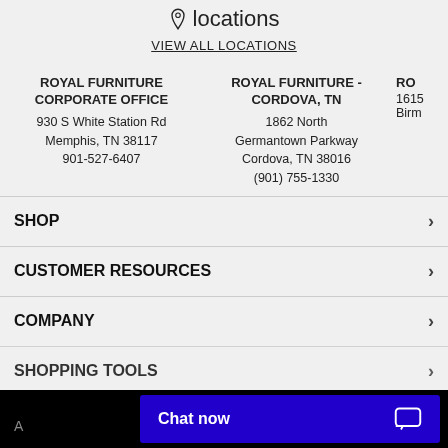locations
VIEW ALL LOCATIONS
ROYAL FURNITURE CORPORATE OFFICE
930 S White Station Rd
Memphis, TN 38117
901-527-6407
ROYAL FURNITURE - CORDOVA, TN
1862 North Germantown Parkway
Cordova, TN 38016
(901) 755-1330
RO...
1615
Birm...
SHOP
CUSTOMER RESOURCES
COMPANY
SHOPPING TOOLS
Chat now